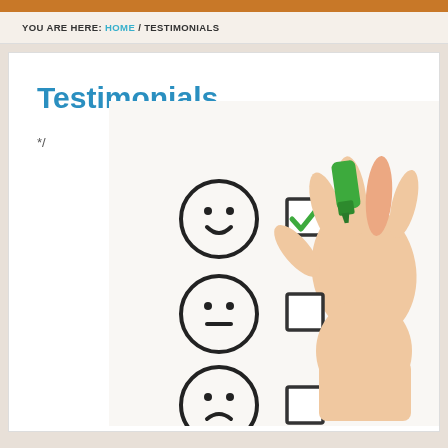YOU ARE HERE: HOME / TESTIMONIALS
Testimonials
*/
[Figure (photo): A hand holding a green marker checking the top checkbox on a satisfaction survey with three smiley face options (happy, neutral, sad) and corresponding checkboxes, with the happy face checkbox checked with a green checkmark.]